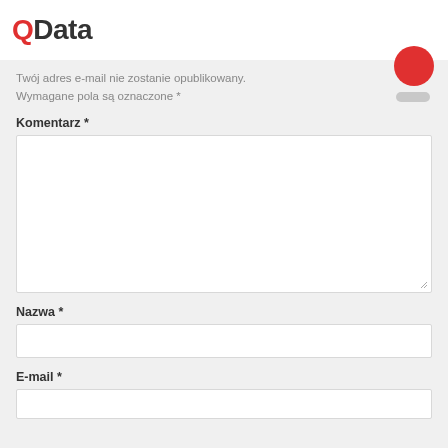QData
Twój adres e-mail nie zostanie opublikowany. Wymagane pola są oznaczone *
Komentarz *
Nazwa *
E-mail *